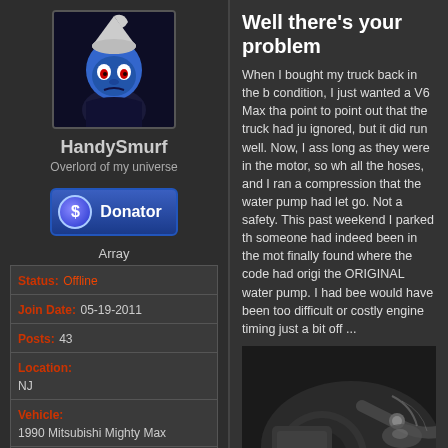[Figure (illustration): Avatar image of a Smurf character with dark clothing]
HandySmurf
Overlord of my universe
[Figure (illustration): Donator badge button with dollar sign icon and text 'Donator']
Array
| Status: | Offline |
| Join Date: | 05-19-2011 |
| Posts: | 43 |
| Location: | NJ |
| Vehicle: | 1990 Mitsubishi Mighty Max |
| Engine: | Please Select Your Engine Type |
Well there's your problem
When I bought my truck back in the b condition, I just wanted a V6 Max tha point to point out that the truck had ju ignored, but it did run well. Now, I ass long as they were in the motor, so wh all the hoses, and I ran a compression that the water pump had let go. Not a safety. This past weekend I parked th someone had indeed been in the mot finally found where the code had origi the ORIGINAL water pump. I had bee would have been too difficult or costly engine timing just a bit off ...
[Figure (photo): Close-up photo of a vehicle engine compartment showing engine components]